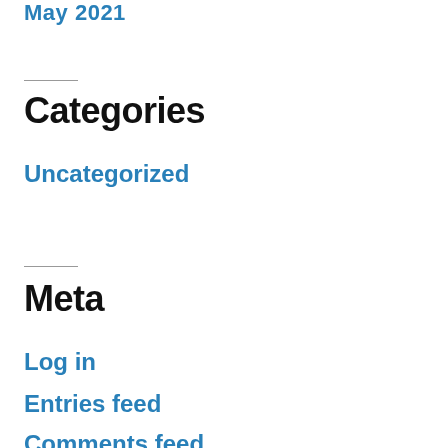May 2021
Categories
Uncategorized
Meta
Log in
Entries feed
Comments feed